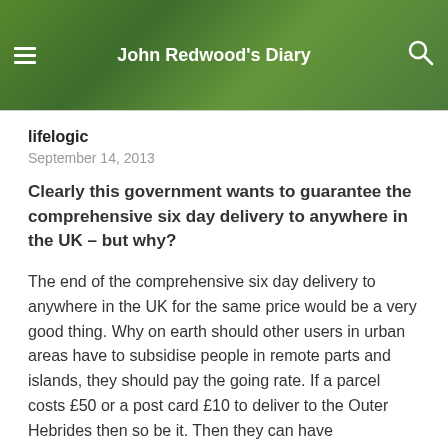John Redwood's Diary
lifelogic
September 14, 2013
Clearly this government wants to guarantee the comprehensive six day delivery to anywhere in the UK – but why?
The end of the comprehensive six day delivery to anywhere in the UK for the same price would be a very good thing. Why on earth should other users in urban areas have to subsidise people in remote parts and islands, they should pay the going rate. If a parcel costs £50 or a post card £10 to deliver to the Outer Hebrides then so be it. Then they can have competition, perhaps collecting their post from the local shop instead or